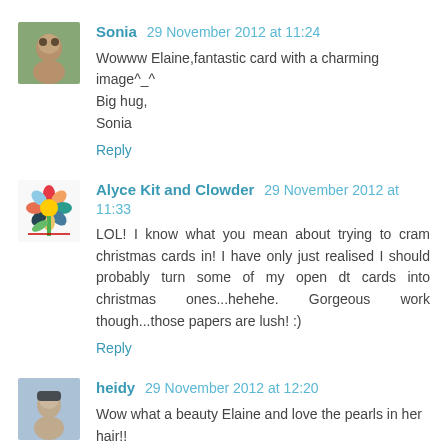[Figure (photo): Small avatar photo of Sonia, a woman with dark hair]
Sonia 29 November 2012 at 11:24
Wowww Elaine,fantastic card with a charming image^_^
Big hug,
Sonia
Reply
[Figure (illustration): Small avatar image of Alyce Kit and Clowder, a colorful flower illustration]
Alyce Kit and Clowder 29 November 2012 at 11:33
LOL! I know what you mean about trying to cram christmas cards in! I have only just realised I should probably turn some of my open dt cards into christmas ones...hehehe. Gorgeous work though...those papers are lush! :)
Reply
[Figure (photo): Small avatar photo of heidy, a person with short dark hair]
heidy 29 November 2012 at 12:20
Wow what a beauty Elaine and love the pearls in her hair!! XXX Heidy